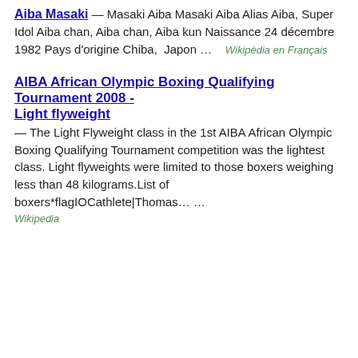Aiba Masaki — Masaki Aiba Masaki Aiba Alias Aiba, Super Idol Aiba chan, Aiba chan, Aiba kun Naissance 24 décembre 1982 Pays d'origine Chiba, Japon … Wikipédia en Français
AIBA African Olympic Boxing Qualifying Tournament 2008 - Light flyweight
— The Light Flyweight class in the 1st AIBA African Olympic Boxing Qualifying Tournament competition was the lightest class. Light flyweights were limited to those boxers weighing less than 48 kilograms.List of boxers*flagIOCathlete|Thomas… …
Wikipedia